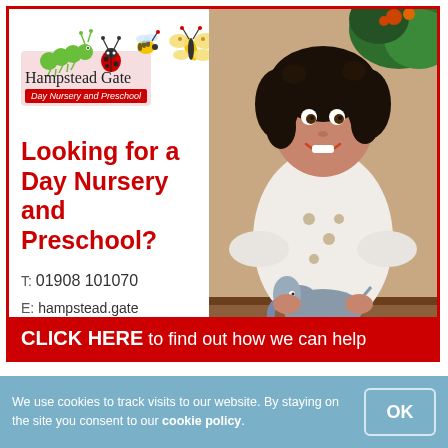[Figure (logo): Hampstead Gate Day Nursery and Preschool logo with illustrated bugs (caterpillar, ladybug, bees, butterfly) and text on pink background with red badge]
[Figure (photo): Young girl with dark curly hair smiling, wearing white long-sleeve top with bear print, holding a toy elephant figure]
Looking for a Day Nursery and Preschool?
T: 01908 101070
E: hampstead.gate@childbase.com
CLICK HERE to find out how we can help
We use cookies to track visits to our website. By staying on the site you consent to our cookie policy.